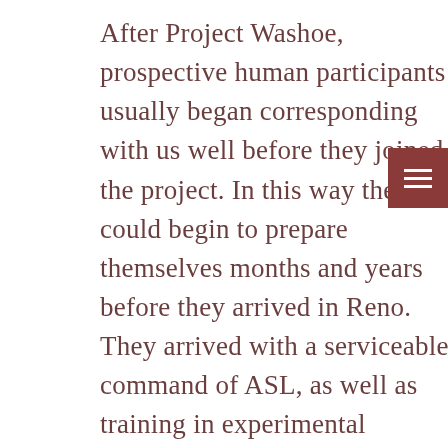After Project Washoe, prospective human participants usually began corresponding with us well before they joined the project. In this way they could begin to prepare themselves months and years before they arrived in Reno. They arrived with a serviceable command of ASL, as well as training in experimental psychology, primatology and related fields. Many had made friends in their local deaf community and had even acquired firsthand experience with deaf children. News of the success of Project Washoe had been warmly received in the deaf community. There were enthusiastic articles in The Deaf American, the most widely circulated publication in the deaf community at that time (e.g., Swain, 1968